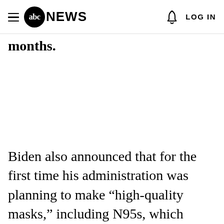abc NEWS  LOG IN
months.
Biden also announced that for the first time his administration was planning to make “high-quality masks,” including N95s, which